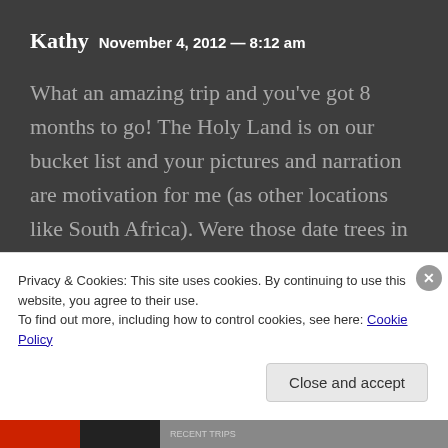Kathy  November 4, 2012 — 8:12 am
What an amazing trip and you've got 8 months to go! The Holy Land is on our bucket list and your pictures and narration are motivation for me (as other locations like South Africa). Were those date trees in the Bahai Gardens? Beautiful
Privacy & Cookies: This site uses cookies. By continuing to use this website, you agree to their use.
To find out more, including how to control cookies, see here: Cookie Policy
Close and accept